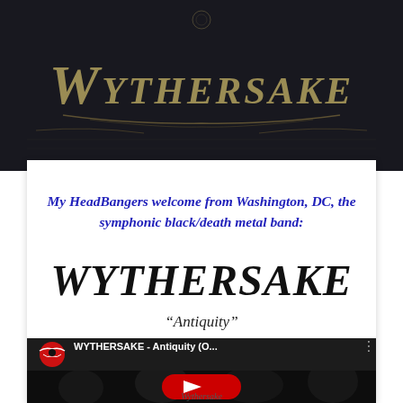[Figure (illustration): Dark textured background with ornate gothic-style 'Wythersake' band logo in gold/olive metallic lettering on dark charcoal background]
My HeadBangers welcome from Washington, DC, the symphonic black/death metal band:
WYTHERSAKE
“Antiquity”
[Figure (screenshot): YouTube video thumbnail showing WYTHERSAKE - Antiquity (O... with MyHeadBangers logo, band performing on stage in black and white, red YouTube play button overlay]